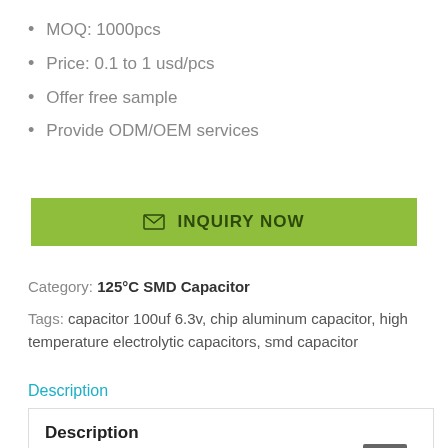MOQ: 1000pcs
Price: 0.1 to 1 usd/pcs
Offer free sample
Provide ODM/OEM services
[Figure (other): Green 'INQUIRY NOW' button with envelope icon]
Category: 125°C SMD Capacitor
Tags: capacitor 100uf 6.3v, chip aluminum capacitor, high temperature electrolytic capacitors, smd capacitor
Description
Description
Hot Sale 125°C 100UF 10V SMD Electrolytic Capacitor